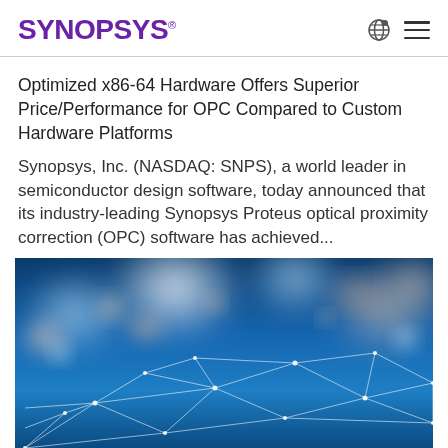Synopsys®
Optimized x86-64 Hardware Offers Superior Price/Performance for OPC Compared to Custom Hardware Platforms
Synopsys, Inc. (NASDAQ: SNPS), a world leader in semiconductor design software, today announced that its industry-leading Synopsys Proteus optical proximity correction (OPC) software has achieved...
[Figure (photo): Abstract network connectivity image with blue bokeh background and white geometric connecting lines and nodes]